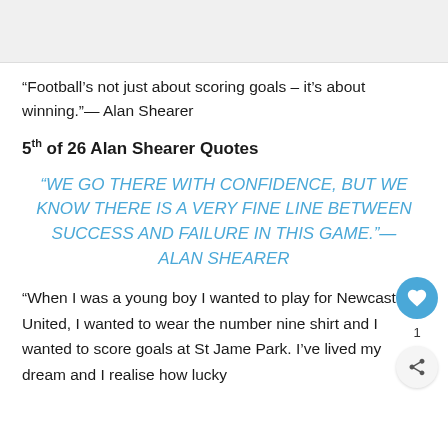[Figure (photo): Top image placeholder, light gray background]
“Football’s not just about scoring goals – it’s about winning.”— Alan Shearer
5th of 26 Alan Shearer Quotes
“WE GO THERE WITH CONFIDENCE, BUT WE KNOW THERE IS A VERY FINE LINE BETWEEN SUCCESS AND FAILURE IN THIS GAME.”— ALAN SHEARER
“When I was a young boy I wanted to play for Newcastle United, I wanted to wear the number nine shirt and I wanted to score goals at St James Park. I’ve lived my dream and I realise how lucky